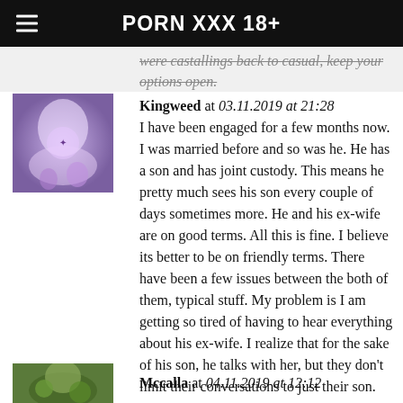PORN XXX 18+
were castallings back to casual, keep your options open.
Kingweed at 03.11.2019 at 21:28
I have been engaged for a few months now. I was married before and so was he. He has a son and has joint custody. This means he pretty much sees his son every couple of days sometimes more. He and his ex-wife are on good terms. All this is fine. I believe its better to be on friendly terms. There have been a few issues between the both of them, typical stuff. My problem is I am getting so tired of having to hear everything about his ex-wife. I realize that for the sake of his son, he talks with her, but they don't limit their conversations to just their son.
Mccalla at 04.11.2019 at 12:12